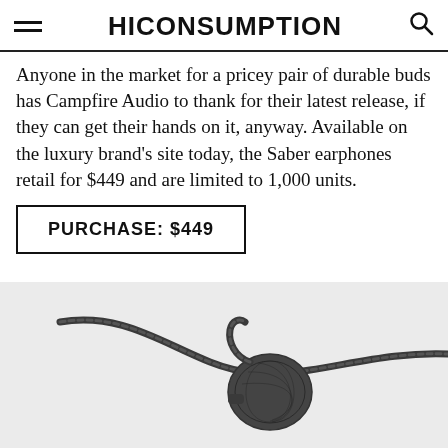HICONSUMPTION
Anyone in the market for a pricey pair of durable buds has Campfire Audio to thank for their latest release, if they can get their hands on it, anyway. Available on the luxury brand's site today, the Saber earphones retail for $449 and are limited to 1,000 units.
PURCHASE: $449
[Figure (photo): Close-up photo of Campfire Audio Saber in-ear earphone with braided cable on light gray background]